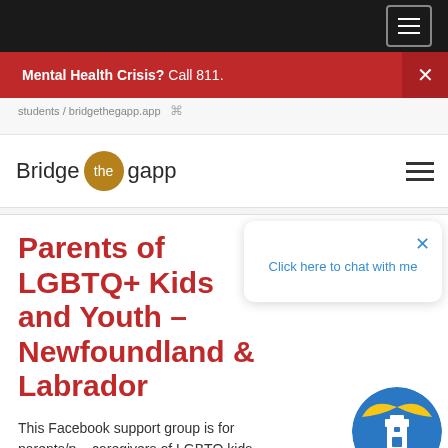Navigation bar with menu icon
Mental Health Crisis? Call 811.
[Figure (logo): Bridge the gapp logo with golden circle around 'the']
Parents of LGBTQ+ Kids and Youth – Newfoundland & Labrador
Click here to chat with me
This Facebook support group is for parents/p... caregivers of LGBTQ kids and youth - with a par... focus on support for parents with kids who are gay.